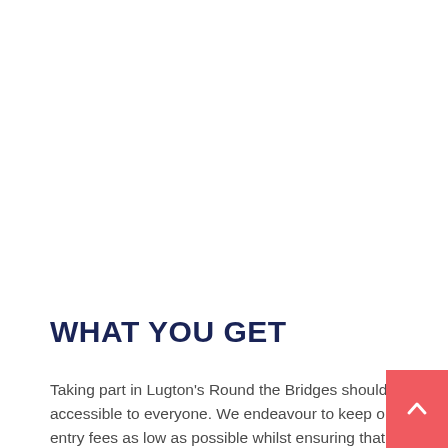WHAT YOU GET
Taking part in Lugton's Round the Bridges should be accessible to everyone. We endeavour to keep our entry fees as low as possible whilst ensuring that we are still able to deliver the best possible